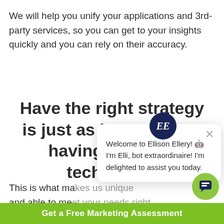We will help you unify your applications and 3rd-party services, so you can get to your insights quickly and you can rely on their accuracy.
Have the right strategy is just as important as having the right technology
This is what makes us unique and able to meet your needs right at now. We have the perfect combination of data-centric focus
[Figure (other): Ellison Ellery chat bot popup with EE logo and welcome message: Welcome to Ellison Ellery! I'm Elli, bot extraordinaire! I'm delighted to assist you today.]
Get a Free Marketing Assessment